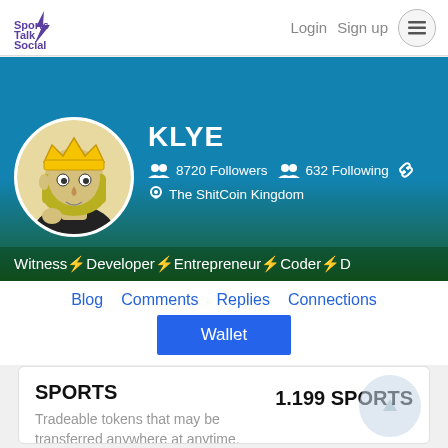Sports Talk Social   Login   Sign up
[Figure (photo): Profile banner with avatar of a cartoon king character with yellow hair and crown, on a teal/green background. Username KLYE with 8720 Followers, 632 Following, location The ShitCoin Kingdom. Tagline: Witness⚡Developer⚡Entrepreneur⚡Coder⚡D...]
KLYE
8720 Followers   632 Following
The ShitCoin Kingdom
Witness⚡Developer⚡Entrepreneur⚡Coder⚡D
Blog
Comments
Replies
Connections
Wallet
SPORTS
1.199 SPORTS
Tradeable tokens that may be transferred anywhere at anytime.